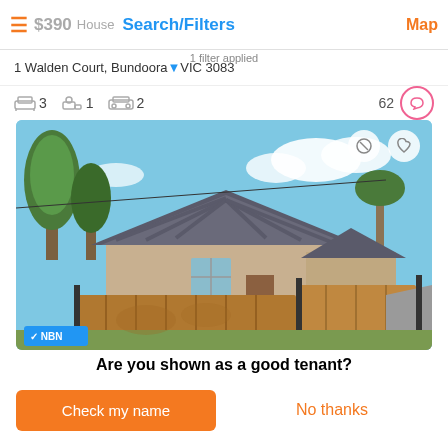$390 House Search/Filters Map
1 Walden Court, Bundoora VIC 3083
1 filter applied
3  1  2  62
[Figure (photo): Exterior photo of a brick house with dark tile roof, wooden fence, trees, and driveway. NBN badge in bottom left corner.]
Are you shown as a good tenant?
Check my name
No thanks